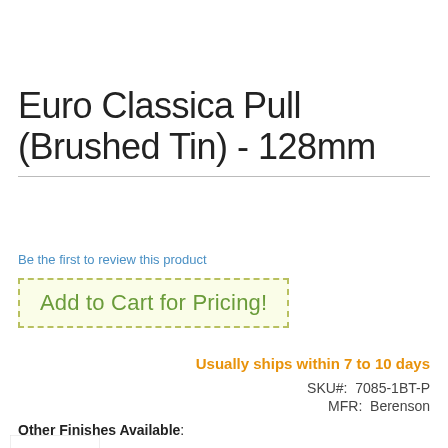Euro Classica Pull (Brushed Tin) - 128mm
Be the first to review this product
Add to Cart for Pricing!
Usually ships within 7 to 10 days
SKU#:  7085-1BT-P
MFR:  Berenson
Other Finishes Available:
[Figure (photo): Small thumbnail image of a cabinet pull finish option]